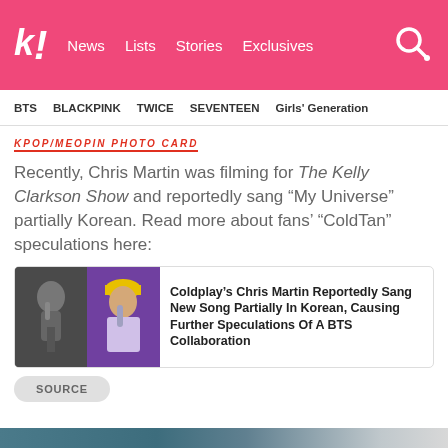k! News  Lists  Stories  Exclusives
BTS  BLACKPINK  TWICE  SEVENTEEN  Girls' Generation
[Figure (screenshot): Partially visible red/pink italic text banner reading 'KPOP/MEOPIN PHOTO CARD']
Recently, Chris Martin was filming for The Kelly Clarkson Show and reportedly sang “My Universe” partially Korean. Read more about fans’ “ColdTan” speculations here:
[Figure (photo): Two side-by-side photos: left shows Chris Martin singing with a microphone; right shows a BTS member in a yellow beanie singing into a microphone]
Coldplay’s Chris Martin Reportedly Sang New Song Partially In Korean, Causing Further Speculations Of A BTS Collaboration
SOURCE